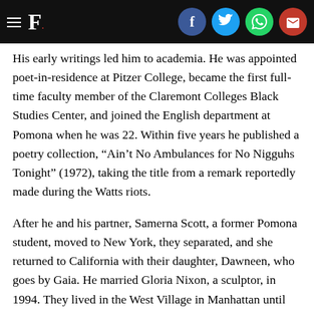F. [logo with Facebook, Twitter, WhatsApp, Email social icons]
His early writings led him to academia. He was appointed poet-in-residence at Pitzer College, became the first full-time faculty member of the Claremont Colleges Black Studies Center, and joined the English department at Pomona when he was 22. Within five years he published a poetry collection, “Ain’t No Ambulances for No Nigguhs Tonight” (1972), taking the title from a remark reportedly made during the Watts riots.
After he and his partner, Samerna Scott, a former Pomona student, moved to New York, they separated, and she returned to California with their daughter, Dawneen, who goes by Gaia. He married Gloria Nixon, a sculptor, in 1994. They lived in the West Village in Manhattan until recently, when they moved to Brooklyn.
In addition to his wife and his daughter, Gaia Scott-Crouch, he is survived by a granddaughter.
Crouch met Marsalis when the trumpeter was a teenager